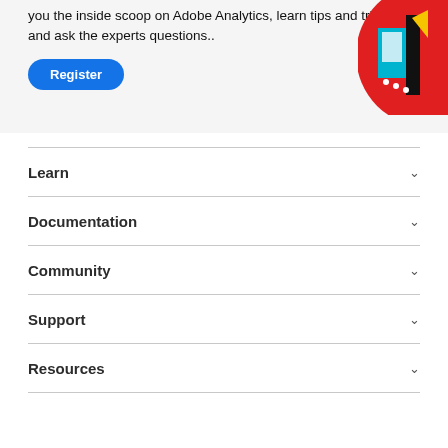you the inside scoop on Adobe Analytics, learn tips and tricks, and ask the experts questions..
[Figure (illustration): Colorful abstract illustration with red, cyan, black and white geometric shapes, partially cropped at the top-right corner of the banner area.]
Register
Learn
Documentation
Community
Support
Resources